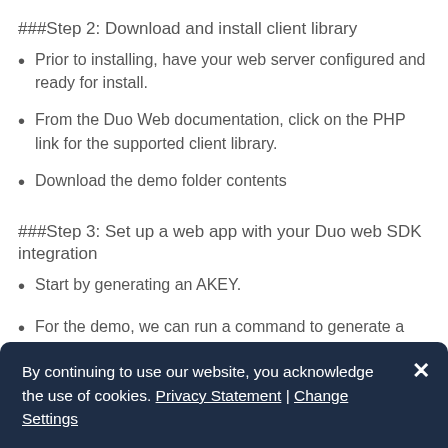###Step 2: Download and install client library
Prior to installing, have your web server configured and ready for install.
From the Duo Web documentation, click on the PHP link for the supported client library.
Download the demo folder contents
###Step 3: Set up a web app with your Duo web SDK integration
Start by generating an AKEY.
For the demo, we can run a command to generate a
By continuing to use our website, you acknowledge the use of cookies. Privacy Statement | Change Settings